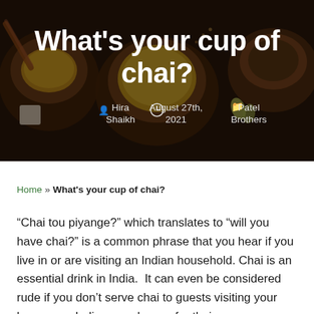[Figure (photo): Hero image showing tea cups with chai and spices on a dark background, overlaid with the article title and metadata]
What's your cup of chai?
Hira Shaikh  |  August 27th, 2021  |  Patel Brothers
Home » What's your cup of chai?
“Chai tou piyange?” which translates to “will you have chai?” is a common phrase that you hear if you live in or are visiting an Indian household. Chai is an essential drink in India.  It can even be considered rude if you don’t serve chai to guests visiting your house,  as Indians are known for their warm hospitality.  If you are